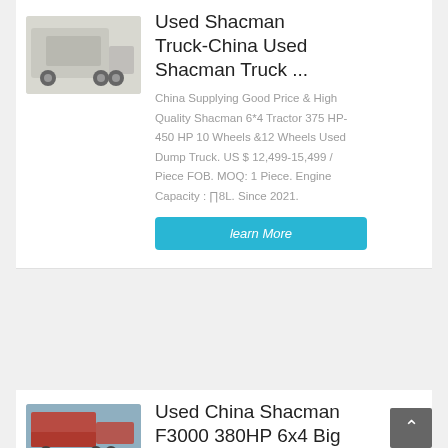[Figure (photo): White Shacman tractor truck parked in a lot with trees in background]
Used Shacman Truck-China Used Shacman Truck ...
China Supplying Good Price & High Quality Shacman 6*4 Tractor 375 HP-450 HP 10 Wheels &12 Wheels Used Dump Truck. US $ 12,499-15,499 / Piece FOB. MOQ: 1 Piece. Engine Capacity : ∏8L. Since 2021.
learn More
[Figure (photo): Red Shacman F3000 dump truck parked outdoors]
Used China Shacman F3000 380HP 6x4 Big